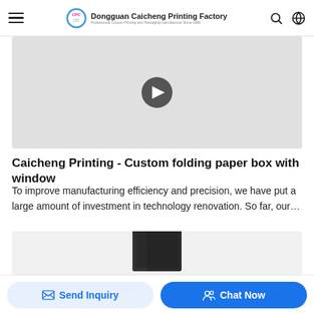Dongguan Caicheng Printing Factory — Professional Custom Printing and Packaging manufacturer Since 1996
[Figure (screenshot): Video thumbnail with play button on light gray background]
Caicheng Printing - Custom folding paper box with window
To improve manufacturing efficiency and precision, we have put a large amount of investment in technology renovation. So far, our…
[Figure (photo): Product image showing a dark paper bag with handles on light gray background]